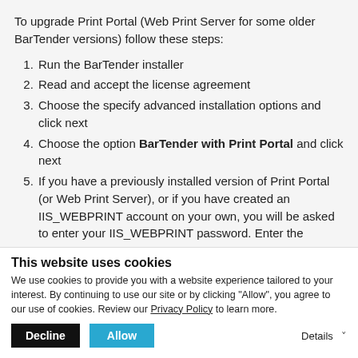To upgrade Print Portal (Web Print Server for some older BarTender versions) follow these steps:
Run the BarTender installer
Read and accept the license agreement
Choose the specify advanced installation options and click next
Choose the option BarTender with Print Portal and click next
If you have a previously installed version of Print Portal (or Web Print Server), or if you have created an IIS_WEBPRINT account on your own, you will be asked to enter your IIS_WEBPRINT password. Enter the
This website uses cookies
We use cookies to provide you with a website experience tailored to your interest. By continuing to use our site or by clicking "Allow", you agree to our use of cookies. Review our Privacy Policy to learn more.